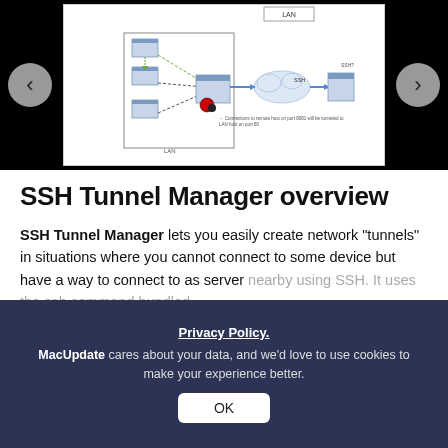[Figure (screenshot): SSH Tunnel Manager network diagram showing LAN tunneling through SSH to a remote server, with navigation arrows on left and right sides]
SSH Tunnel Manager overview
SSH Tunnel Manager lets you easily create network "tunnels" in situations where you cannot connect to some device but have a way to connect to as server nearby using SSH. It uses the ssh command bundled
Read more
What's new in version 2.2.7
Privacy Policy.
MacUpdate cares about your data, and we'd love to use cookies to make your experience better.
OK